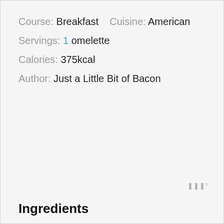Course: Breakfast    Cuisine: American
Servings: 1 omelette
Calories: 375kcal
Author: Just a Little Bit of Bacon
Ingredients